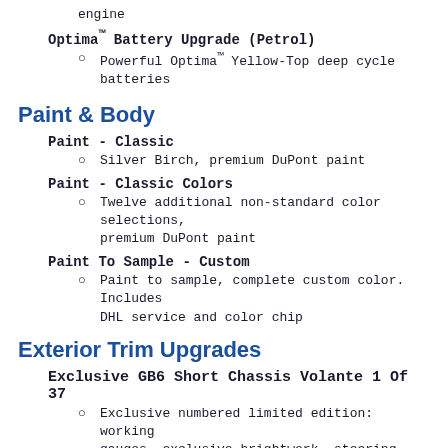engine
Optima™ Battery Upgrade (Petrol)
Powerful Optima™ Yellow-Top deep cycle batteries
Paint & Body
Paint - Classic
Silver Birch, premium DuPont paint
Paint - Classic Colors
Twelve additional non-standard color selections, premium DuPont paint
Paint To Sample - Custom
Paint to sample, complete custom color. Includes DHL service and color chip
Exterior Trim Upgrades
Exclusive GB6 Short Chassis Volante 1 Of 37
Exclusive numbered limited edition: working gauges, exclusive brightwork, steering wheel, badges and trim
Wheels